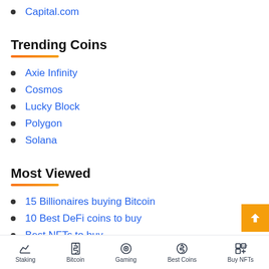Capital.com
Trending Coins
Axie Infinity
Cosmos
Lucky Block
Polygon
Solana
Most Viewed
15 Billionaires buying Bitcoin
10 Best DeFi coins to buy
Best NFTs to buy
Staking | Bitcoin | Gaming | Best Coins | Buy NFTs